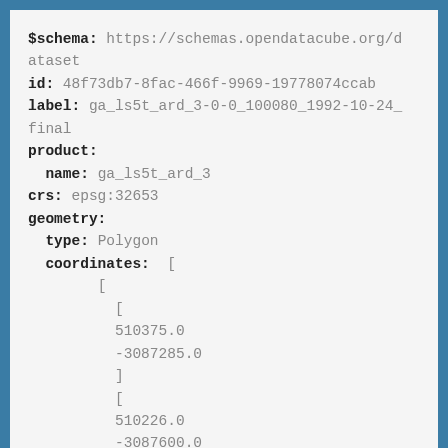$schema: https://schemas.opendatacube.org/dataset
id: 48f73db7-8fac-466f-9969-19778074ccab
label: ga_ls5t_ard_3-0-0_100080_1992-10-24_final
product:
  name: ga_ls5t_ard_3
crs: epsg:32653
geometry:
  type: Polygon
  coordinates:  [
        [
          [
          510375.0
          -3087285.0
          ]
          [
          510226.0
          -3087600.0